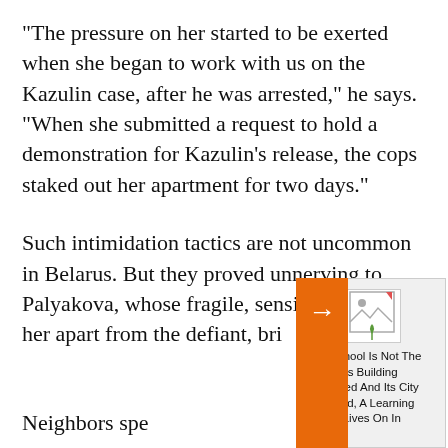"The pressure on her started to be exerted when she began to work with us on the Kazulin case, after he was arrested," he says. "When she submitted a request to hold a demonstration for Kazulin's release, the cops staked out her apartment for two days."
Such intimidation tactics are not uncommon in Belarus. But they proved unnerving to Palyakova, whose fragile, sensitive nature set her apart from the defiant, bring-it-on activists around her.
Neighbors spe[ak of how she] was "hypersen[sitive" and] wrong word co[uld upset her]
[Figure (illustration): Orange arrow bar pointing right with a popup overlay showing a broken image placeholder icon and text: 'The School Is Not The Walls': Its Building Destroyed And Its City Occupied, A Learning Center Lives On In Ukraine]
'The School Is Not The Walls': Its Building Destroyed And Its City Occupied, A Learning Center Lives On In Ukraine